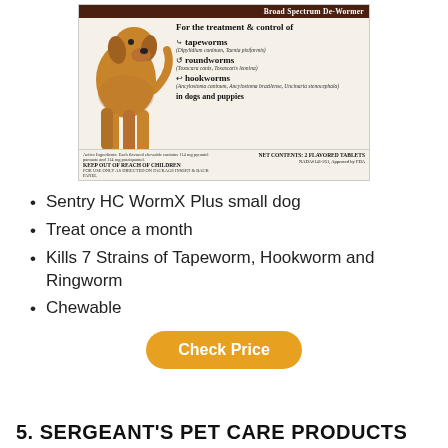[Figure (photo): Product box of Sentry HC WormX Plus dog de-wormer showing a golden dog, with label text about tapeworms, roundworms, hookworms treatment]
Sentry HC WormX Plus small dog
Treat once a month
Kills 7 Strains of Tapeworm, Hookworm and Ringworm
Chewable
Check Price
5. SERGEANT'S PET CARE PRODUCTS